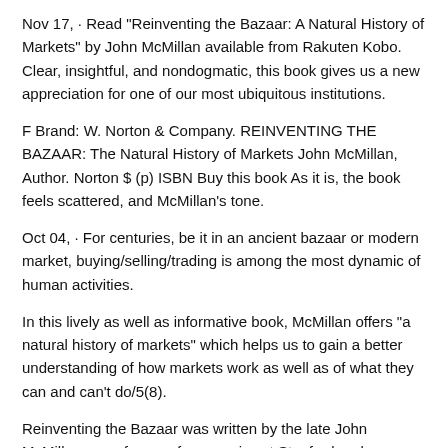Nov 17,  · Read "Reinventing the Bazaar: A Natural History of Markets" by John McMillan available from Rakuten Kobo. Clear, insightful, and nondogmatic, this book gives us a new appreciation for one of our most ubiquitous institutions.
F Brand: W. Norton & Company. REINVENTING THE BAZAAR: The Natural History of Markets John McMillan, Author. Norton $ (p) ISBN Buy this book As it is, the book feels scattered, and McMillan's tone.
Oct 04,  · For centuries, be it in an ancient bazaar or modern market, buying/selling/trading is among the most dynamic of human activities.
In this lively as well as informative book, McMillan offers "a natural history of markets" which helps us to gain a better understanding of how markets work as well as of what they can and can't do/5(8).
Reinventing the Bazaar was written by the late John McMillan, a professor of economics at Stanford and an expert on government procurement. This is a book about the economics of markets (with a focus on market design), not an economic history, as I believed when I purchased the book/5(31).